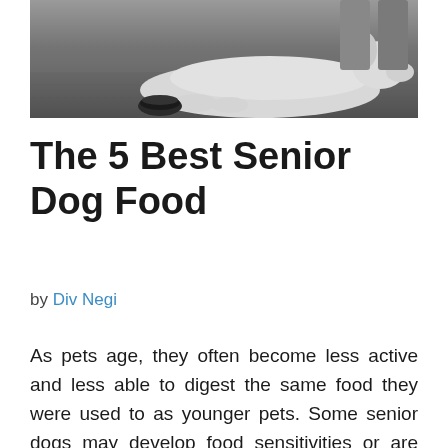[Figure (photo): Black and white photo of a large white dog lying down near a dark food bowl on a tiled or concrete surface]
The 5 Best Senior Dog Food
by Div Negi
As pets age, they often become less active and less able to digest the same food they were used to as younger pets. Some senior dogs may develop food sensitivities or are unable to digest protein as they age. It's important to find a food that is both high in quality and tailored to fit your dog's needs as